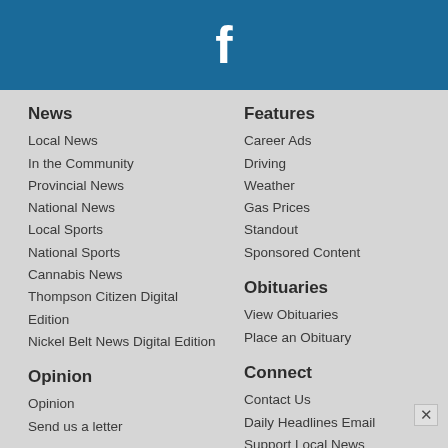[Figure (logo): Facebook 'f' logo white on blue background header bar]
News
Local News
In the Community
Provincial News
National News
Local Sports
National Sports
Cannabis News
Thompson Citizen Digital Edition
Nickel Belt News Digital Edition
Opinion
Opinion
Send us a letter
Arts & Life
Local Arts
Features
Career Ads
Driving
Weather
Gas Prices
Standout
Sponsored Content
Obituaries
View Obituaries
Place an Obituary
Connect
Contact Us
Daily Headlines Email
Support Local News